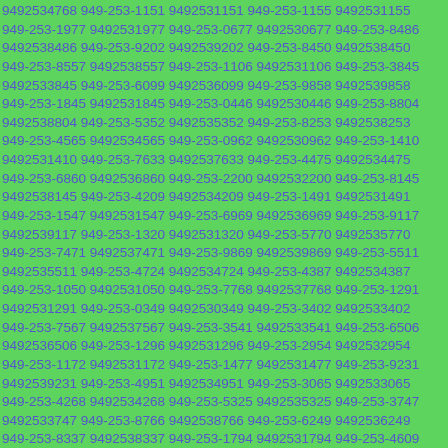9492534768 949-253-1151 9492531151 949-253-1155 9492531155 949-253-1977 9492531977 949-253-0677 9492530677 949-253-8486 9492538486 949-253-9202 9492539202 949-253-8450 9492538450 949-253-8557 9492538557 949-253-1106 9492531106 949-253-3845 9492533845 949-253-6099 9492536099 949-253-9858 9492539858 949-253-1845 9492531845 949-253-0446 9492530446 949-253-8804 9492538804 949-253-5352 9492535352 949-253-8253 9492538253 949-253-4565 9492534565 949-253-0962 9492530962 949-253-1410 9492531410 949-253-7633 9492537633 949-253-4475 9492534475 949-253-6860 9492536860 949-253-2200 9492532200 949-253-8145 9492538145 949-253-4209 9492534209 949-253-1491 9492531491 949-253-1547 9492531547 949-253-6969 9492536969 949-253-9117 9492539117 949-253-1320 9492531320 949-253-5770 9492535770 949-253-7471 9492537471 949-253-9869 9492539869 949-253-5511 9492535511 949-253-4724 9492534724 949-253-4387 9492534387 949-253-1050 9492531050 949-253-7768 9492537768 949-253-1291 9492531291 949-253-0349 9492530349 949-253-3402 9492533402 949-253-7567 9492537567 949-253-3541 9492533541 949-253-6506 9492536506 949-253-1296 9492531296 949-253-2954 9492532954 949-253-1172 9492531172 949-253-1477 9492531477 949-253-9231 9492539231 949-253-4951 9492534951 949-253-3065 9492533065 949-253-4268 9492534268 949-253-5325 9492535325 949-253-3747 9492533747 949-253-8766 9492538766 949-253-6249 9492536249 949-253-8337 9492538337 949-253-1794 9492531794 949-253-4609 9492534609 949-253-6185 9492536185 949-253-0251 9492530251 949-253-8636 9492538636 949-253-8193 9492538193 949-253-3241